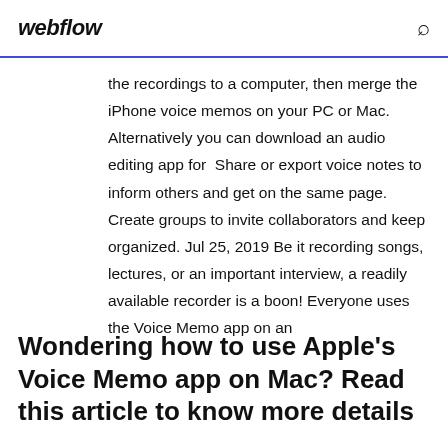webflow
the recordings to a computer, then merge the iPhone voice memos on your PC or Mac. Alternatively you can download an audio editing app for Share or export voice notes to inform others and get on the same page. Create groups to invite collaborators and keep organized. Jul 25, 2019 Be it recording songs, lectures, or an important interview, a readily available recorder is a boon! Everyone uses the Voice Memo app on an
Wondering how to use Apple's Voice Memo app on Mac? Read this article to know more details